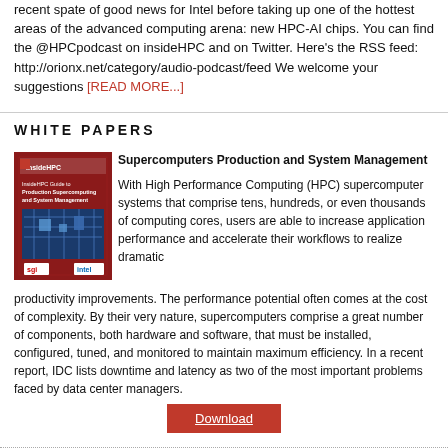recent spate of good news for Intel before taking up one of the hottest areas of the advanced computing arena: new HPC-AI chips. You can find the @HPCpodcast on insideHPC and on Twitter. Here's the RSS feed: http://orionx.net/category/audio-podcast/feed We welcome your suggestions [READ MORE...]
WHITE PAPERS
[Figure (illustration): Book cover for insideHPC guide to Production Supercomputing and System Management, featuring SGI and Intel branding, dark red cover with blue circuit board image]
Supercomputers Production and System Management
With High Performance Computing (HPC) supercomputer systems that comprise tens, hundreds, or even thousands of computing cores, users are able to increase application performance and accelerate their workflows to realize dramatic productivity improvements. The performance potential often comes at the cost of complexity. By their very nature, supercomputers comprise a great number of components, both hardware and software, that must be installed, configured, tuned, and monitored to maintain maximum efficiency. In a recent report, IDC lists downtime and latency as two of the most important problems faced by data center managers.
Download